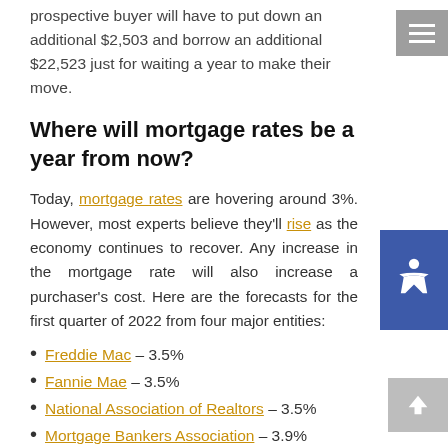prospective buyer will have to put down an additional $2,503 and borrow an additional $22,523 just for waiting a year to make their move.
Where will mortgage rates be a year from now?
Today, mortgage rates are hovering around 3%. However, most experts believe they'll rise as the economy continues to recover. Any increase in the mortgage rate will also increase a purchaser's cost. Here are the forecasts for the first quarter of 2022 from four major entities:
Freddie Mac – 3.5%
Fannie Mae – 3.5%
National Association of Realtors – 3.5%
Mortgage Bankers Association – 3.9%
The projections average out to 3.6% among these four forecasts, a jump up from where they are today